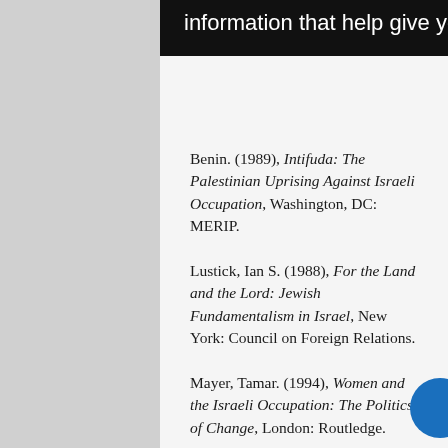information that help give you the very best browsing experience.
Benin. (1989), Intifuda: The Palestinian Uprising Against Israeli Occupation, Washington, DC: MERIP.
Lustick, Ian S. (1988), For the Land and the Lord: Jewish Fundamentalism in Israel, New York: Council on Foreign Relations.
Mayer, Tamar. (1994), Women and the Israeli Occupation: The Politics of Change, London: Routledge.
Orleck, Annelise. (1997), 'Good Motherhood as Patriotism: Mothers on the Right', in Alexis Jetter, Annelise Orleck and Diana Taylor (eds), The Politics...